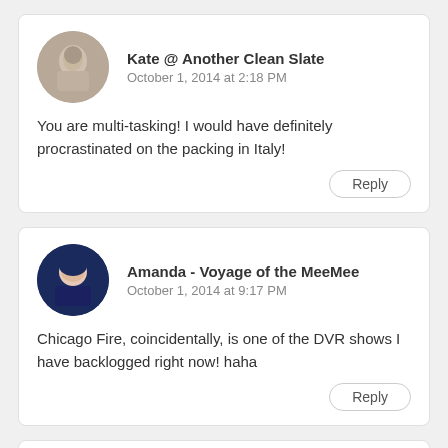Kate @ Another Clean Slate
October 1, 2014 at 2:18 PM
You are multi-tasking! I would have definitely procrastinated on the packing in Italy!
Reply
Amanda - Voyage of the MeeMee
October 1, 2014 at 9:17 PM
Chicago Fire, coincidentally, is one of the DVR shows I have backlogged right now! haha
Reply
Kathy@MoreCoffeeLessTalky